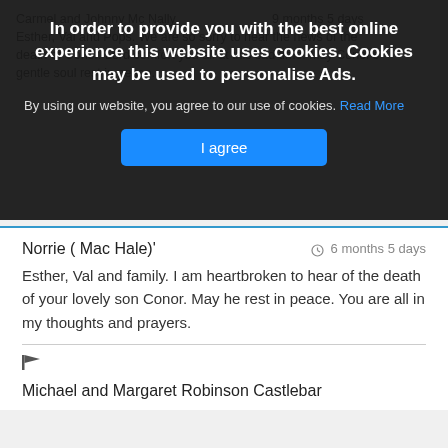Carmel and Johnny Mc Nally.  9 months 5 days
Esther, Val and Pops. We are so sorry to hear the news of the death of Conor. Lord comfort you all at this sad time. May Conor's gentle soul rest in peace.
In order to provide you with the best online experience this website uses cookies. Cookies may be used to personalise Ads.
By using our website, you agree to our use of cookies. Read More
I agree
Norrie ( Mac Hale)'
6 months 5 days
Esther, Val and family. I am heartbroken to hear of the death of your lovely son Conor. May he rest in peace. You are all in my thoughts and prayers.
Michael and Margaret Robinson Castlebar